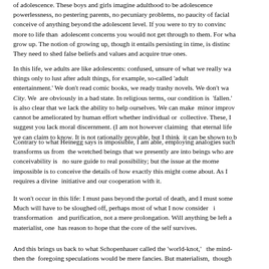of adolescence. These boys and girls imagine adulthood to be adolescence minus powerlessness, no pestering parents, no pecuniary problems, no paucity of facial conceive of anything beyond the adolescent level. If you were to try to convince more to life than adolescent concerns you would not get through to them. For wha grow up. The notion of growing up, though it entails persisting in time, is distinc They need to shed false beliefs and values and acquire true ones.
In this life, we adults are like adolescents: confused, unsure of what we really wa things only to lust after adult things, for example, so-called 'adult entertainment.' We don't read comic books, we ready trashy novels. We don't wa City. We are obviously in a bad state. In religious terms, our condition is 'fallen.' is also clear that we lack the ability to help ourselves. We can make minor improv cannot be ameliorated by human effort whether individual or collective. These, I suggest you lack moral discernment. (I am not however claiming that eternal life we can claim to know. It is not rationally provable, but I think it can be shown to b
Contrary to what Heinegg says is impossible, I am able, employing analogies such transforms us from the wretched beings that we presently are into beings who are conceivability is no sure guide to real possibility; but the issue at the mome impossible is to conceive the details of how exactly this might come about. As I requires a divine initiative and our cooperation with it.
It won't occur in this life: I must pass beyond the portal of death, and I must some Much will have to be sloughed off, perhaps most of what I now consider i transformation and purification, not a mere prolongation. Will anything be left a materialist, one has reason to hope that the core of the self survives.
And this brings us back to what Schopenhauer called the 'world-knot,' the mind- then the foregoing speculations would be mere fancies. But materialism, though